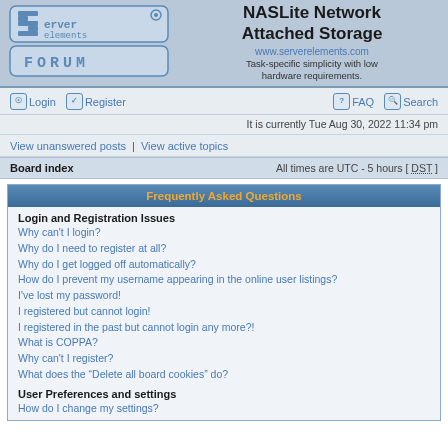[Figure (logo): Server Elements Forum logo with stylized text]
NASLite Network Attached Storage
www.serverelements.com
Task-specific simplicity with low hardware requirements.
Login | Register | FAQ | Search
It is currently Tue Aug 30, 2022 11:34 pm
View unanswered posts | View active topics
Board index  All times are UTC - 5 hours [ DST ]
Frequently Asked Questions
Login and Registration Issues
Why can’t I login?
Why do I need to register at all?
Why do I get logged off automatically?
How do I prevent my username appearing in the online user listings?
I’ve lost my password!
I registered but cannot login!
I registered in the past but cannot login any more?!
What is COPPA?
Why can’t I register?
What does the “Delete all board cookies” do?
User Preferences and settings
How do I change my settings?